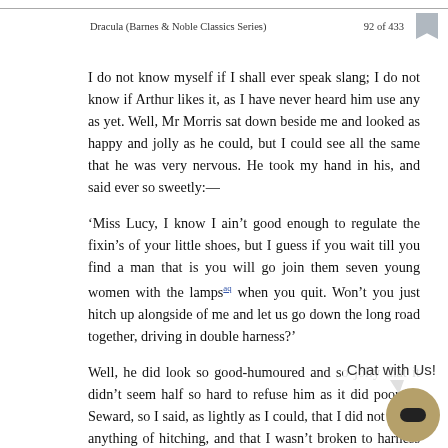Dracula (Barnes & Noble Classics Series)   92 of 433
I do not know myself if I shall ever speak slang; I do not know if Arthur likes it, as I have never heard him use any as yet. Well, Mr Morris sat down beside me and looked as happy and jolly as he could, but I could see all the same that he was very nervous. He took my hand in his, and said ever so sweetly:—
'Miss Lucy, I know I ain't good enough to regulate the fixin's of your little shoes, but I guess if you wait till you find a man that is you will go join them seven young women with the lamps[aq] when you quit. Won't you just hitch up alongside of me and let us go down the long road together, driving in double harness?'
Well, he did look so good-humoured and so jolly that it didn't seem half so hard to refuse him as it did poor Dr Seward, so I said, as lightly as I could, that I did not know anything of hitching, and that I wasn't broken to harness at all yet. Then he said that he had spoken in a light manner, and he hoped that if he had made a mistake in doing so on so grave,